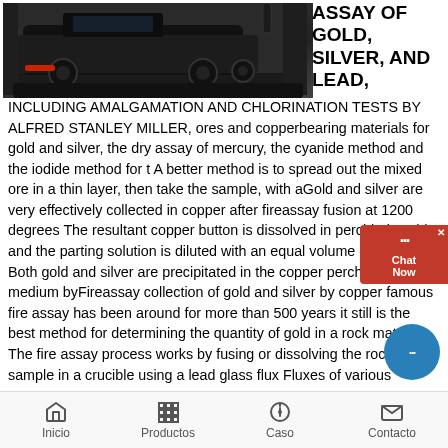[Figure (photo): Industrial vehicle / street sweeper machine in a warehouse or industrial setting, dark toned photograph]
ASSAY OF GOLD, SILVER, AND LEAD, INCLUDING AMALGAMATION AND CHLORINATION TESTS BY ALFRED STANLEY MILLER
ores and copperbearing materials for gold and silver, the dry assay of mercury, the cyanide method and the iodide method for t A better method is to spread out the mixed ore in a thin layer, then take the sample, with aGold and silver are very effectively collected in copper after fireassay fusion at 1200 degrees The resultant copper button is dissolved in perchloric acid and the parting solution is diluted with an equal volume of water Both gold and silver are precipitated in the copper perchlorate medium byFireassay collection of gold and silver by copper famous fire assay has been around for more than 500 years it still is the best method for determining the quantity of gold in a rock matrix The fire assay process works by fusing or dissolving the rock sample in a crucible using a lead glass flux Fluxes of various
Inicio   Productos   Caso   Contacto